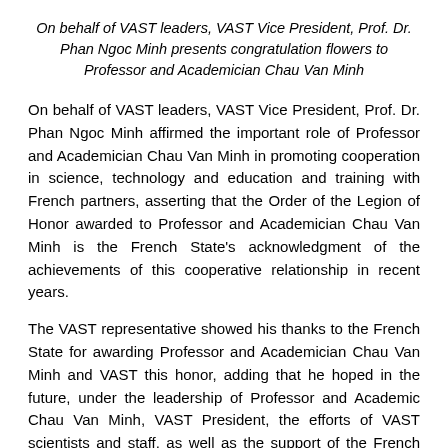On behalf of VAST leaders, VAST Vice President, Prof. Dr. Phan Ngoc Minh presents congratulation flowers to Professor and Academician Chau Van Minh
On behalf of VAST leaders, VAST Vice President, Prof. Dr. Phan Ngoc Minh affirmed the important role of Professor and Academician Chau Van Minh in promoting cooperation in science, technology and education and training with French partners, asserting that the Order of the Legion of Honor awarded to Professor and Academician Chau Van Minh is the French State's acknowledgment of the achievements of this cooperative relationship in recent years.
The VAST representative showed his thanks to the French State for awarding Professor and Academician Chau Van Minh and VAST this honor, adding that he hoped in the future, under the leadership of Professor and Academic Chau Van Minh, VAST President, the efforts of VAST scientists and staff, as well as the support of the French Ambassador, French diplomats and French university research and education organizations, the cooperation